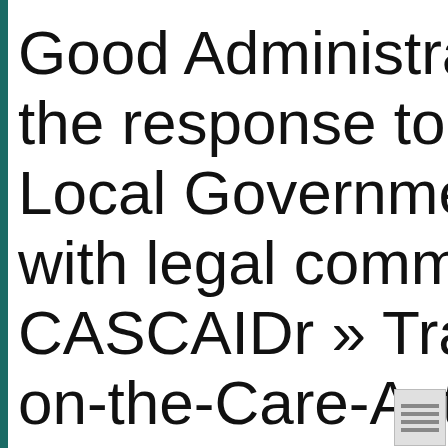Good Administrative practice and the response to Covid-19: Local Government compliance with legal commentary from CASCAIDr » Transparency on-the-Care-Act-e...